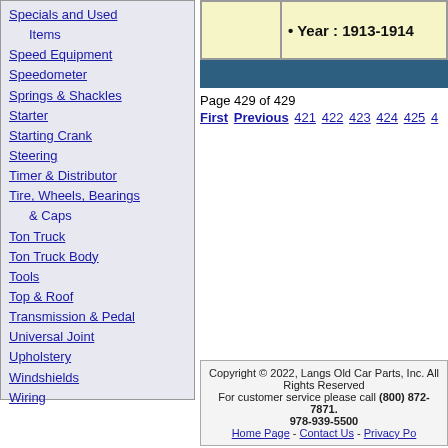Specials and Used Items
Speed Equipment
Speedometer
Springs & Shackles
Starter
Starting Crank
Steering
Timer & Distributor
Tire, Wheels, Bearings & Caps
Ton Truck
Ton Truck Body
Tools
Top & Roof
Transmission & Pedal
Universal Joint
Upholstery
Windshields
Wiring
Year : 1913-1914
Page 429 of 429
First  Previous  421 422 423 424 425 4...
Copyright © 2022, Langs Old Car Parts, Inc. All Rights Reserved
For customer service please call (800) 872-7871. 978-939-5500
Home Page - Contact Us - Privacy Po...